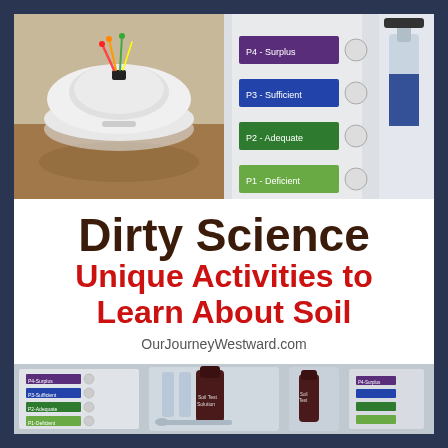[Figure (photo): Top-left photo: a white circular device (sensor/cup lid) with colorful wires on top, sitting on a reflective surface]
[Figure (photo): Top-right photo: a soil test color comparison chart with labeled levels (P4-Surplus, P3-Sufficient, P2-Adequate, P1-Deficient) and circular color swatches next to colored bars (purple, blue, green, light green)]
Dirty Science Unique Activities to Learn About Soil
OurJourneyWestward.com
[Figure (photo): Bottom photo: a soil testing kit with color chart cards (green/purple levels), test tubes, dropper bottles labeled 'Soil Test Solution', and a sampling tool]